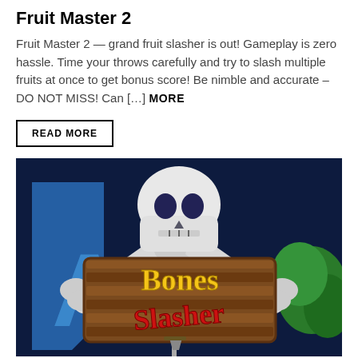Fruit Master 2
Fruit Master 2 — grand fruit slasher is out! Gameplay is zero hassle. Time your throws carefully and try to slash multiple fruits at once to get bonus score! Be nimble and accurate – DO NOT MISS! Can […] MORE
READ MORE
[Figure (screenshot): Game screenshot or logo for 'Bones Slasher' — a dark blue background with a skull and crossbones above a wooden sign reading 'Bones Slasher' in yellow and red text, with green foliage on the right.]